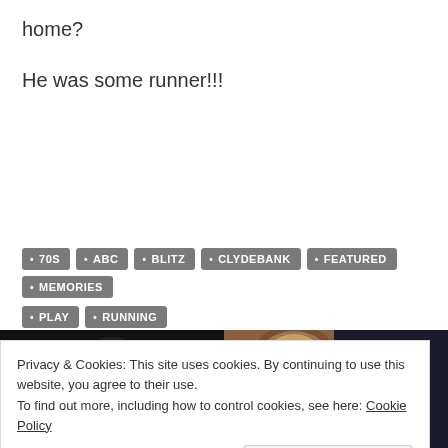home?
He was some runner!!!
70S
ABC
BLITZ
CLYDEBANK
FEATURED
MEMORIES
PLAY
RUNNING
[Figure (photo): Two movie stills side by side: left shows The Godfather character in dark setting; right shows Chewbacca and Han Solo from Star Wars]
Privacy & Cookies: This site uses cookies. By continuing to use this website, you agree to their use.
To find out more, including how to control cookies, see here: Cookie Policy
Close and accept